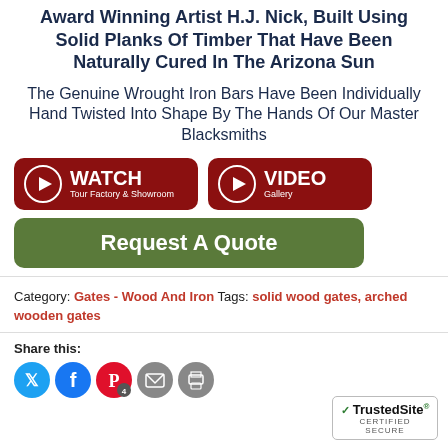Award Winning Artist H.J. Nick, Built Using Solid Planks Of Timber That Have Been Naturally Cured In The Arizona Sun
The Genuine Wrought Iron Bars Have Been Individually Hand Twisted Into Shape By The Hands Of Our Master Blacksmiths
[Figure (other): Dark red button with play icon: WATCH Tour Factory & Showroom]
[Figure (other): Dark red button with play icon: VIDEO Gallery]
[Figure (other): Green button: Request A Quote]
Category: Gates - Wood And Iron Tags: solid wood gates, arched wooden gates
Share this:
[Figure (other): Social share icons: Twitter (blue), Facebook (blue), Pinterest (red, count 4), Email (gray), Print (gray). TrustedSite CERTIFIED SECURE badge at bottom right.]